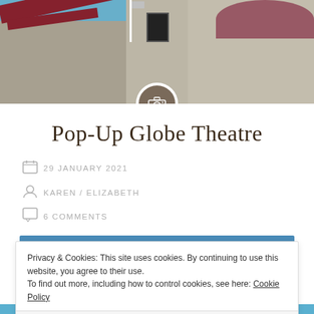[Figure (photo): Header photo of a building with a red/maroon roof and beige/grey walls against a blue sky, with a flag pole visible]
Pop-Up Globe Theatre
29 JANUARY 2021
KAREN / ELIZABETH
6 COMMENTS
[Figure (photo): Partial photo with blue sky visible at bottom of page]
Privacy & Cookies: This site uses cookies. By continuing to use this website, you agree to their use.
To find out more, including how to control cookies, see here: Cookie Policy
Close and accept